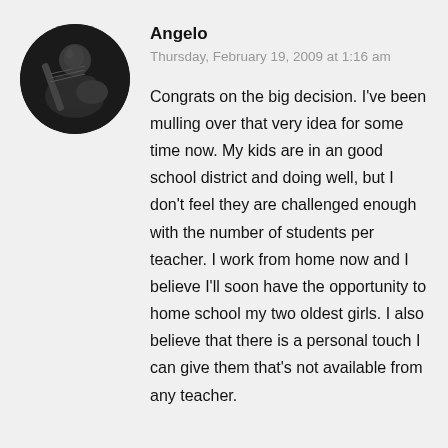[Figure (photo): Circular avatar photo of a man playing a guitar, black and white image]
Angelo
Thursday, February 19, 2009 at 1:16 am
Congrats on the big decision. I've been mulling over that very idea for some time now. My kids are in an good school district and doing well, but I don't feel they are challenged enough with the number of students per teacher. I work from home now and I believe I'll soon have the opportunity to home school my two oldest girls. I also believe that there is a personal touch I can give them that's not available from any teacher.